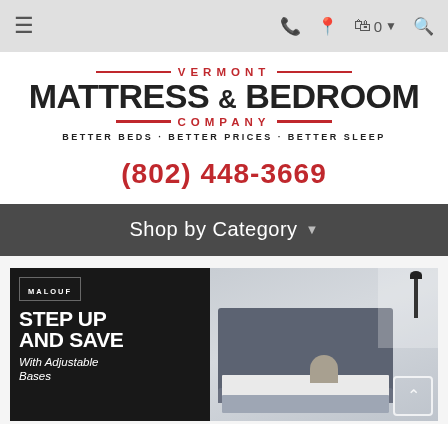≡  📞 📍 🛒 0 ▾ 🔍
[Figure (logo): Vermont Mattress & Bedroom Company logo with tagline BETTER BEDS · BETTER PRICES · BETTER SLEEP]
(802) 448-3669
Shop by Category ▾
[Figure (photo): Malouf branded banner: STEP UP AND SAVE With Adjustable Bases, with bedroom photo showing person on adjustable bed]